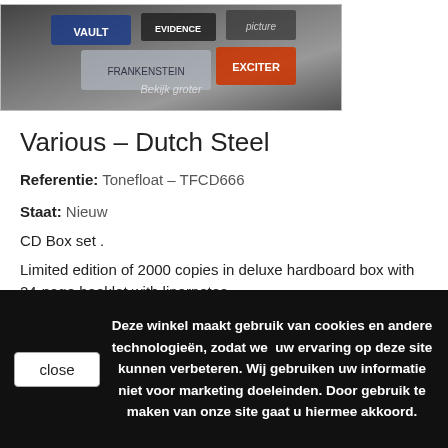[Figure (photo): Product photo of Dutch Steel CD box set showing record sleeves with band names including Frankenstein, Exciter, and others in a metal-style collage]
Various – Dutch Steel
Referentie: Tonefloat – TFCD666
Staat: Nieuw
CD Box set .
Limited edition of 2000 copies in deluxe hardboard box with 24-page booklet with linernotes.
1 Item  Waarschuwing: laatste item(s) op voorraad!
Deze winkel maakt gebruik van cookies en andere technologieën, zodat we  uw ervaring op deze site kunnen verbeteren. Wij gebruiken uw informatie niet voor marketing doeleinden. Door gebruik te maken van onze site gaat u hiermee akkoord.